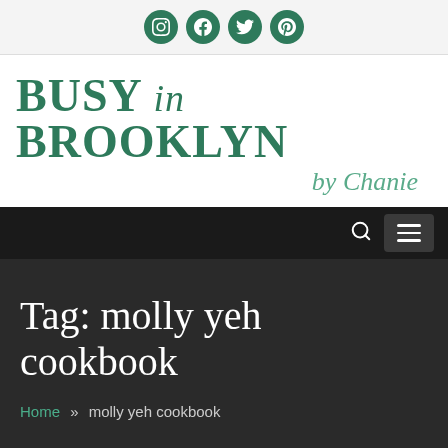Social icons: Instagram, Facebook, Twitter, Pinterest
BUSY in BROOKLYN by Chanie
[Figure (other): Navigation bar with search icon and hamburger menu button on dark background]
Tag: molly yeh cookbook
Home » molly yeh cookbook